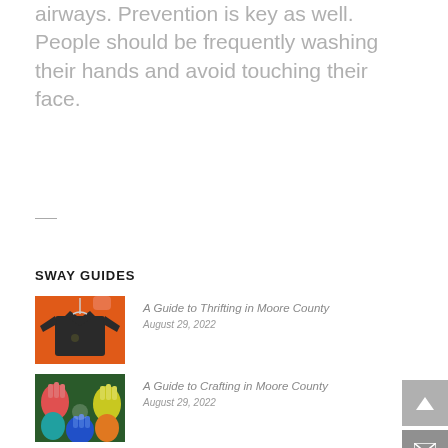airways. Prevention is key as well. People should be frequently washing their hands and avoid touching their face.
SWAY GUIDES
A Guide to Thrifting in Moore County
August 29, 2022
[Figure (photo): Orange background with a dark t-shirt on a hanger held by a hand]
A Guide to Crafting in Moore County
August 29, 2022
[Figure (photo): Colorful painted hands forming a circle]